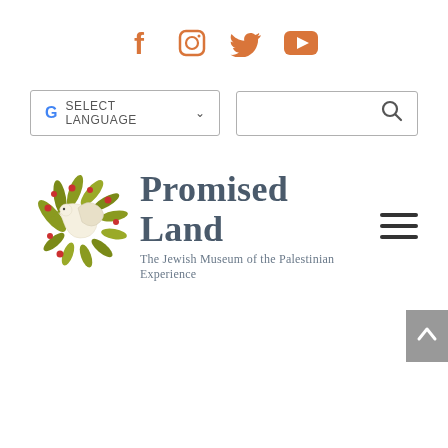[Figure (infographic): Social media icons row: Facebook (f), Instagram (camera), Twitter (bird), YouTube (play button) in orange color]
[Figure (screenshot): Google Translate language selector widget showing G icon and SELECT LANGUAGE with dropdown arrow]
[Figure (screenshot): Search input box with magnifying glass icon]
[Figure (logo): Promised Land museum logo: decorative dove with olive branches and red berries in gold/olive colors, text reads 'Promised Land' in dark blue-grey serif font, subtitle 'The Jewish Museum of the Palestinian Experience']
[Figure (other): Hamburger menu icon (three horizontal lines)]
[Figure (other): Grey scroll-to-top button with white upward arrow chevron]